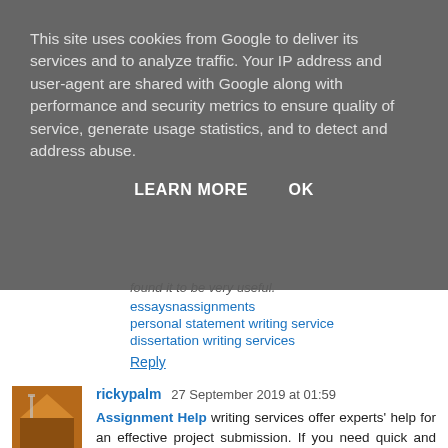This site uses cookies from Google to deliver its services and to analyze traffic. Your IP address and user-agent are shared with Google along with performance and security metrics to ensure quality of service, generate usage statistics, and to detect and address abuse.
LEARN MORE   OK
found it to be very useful.
essaysnassignments
personal statement writing service
dissertation writing services
Reply
rickypalm 27 September 2019 at 01:59
Assignment Help writing services offer experts' help for an effective project submission. If you need quick and instant support for your project completion, login to assignmenthelpshop Students also talk to experts for more details. Assignment Help Online